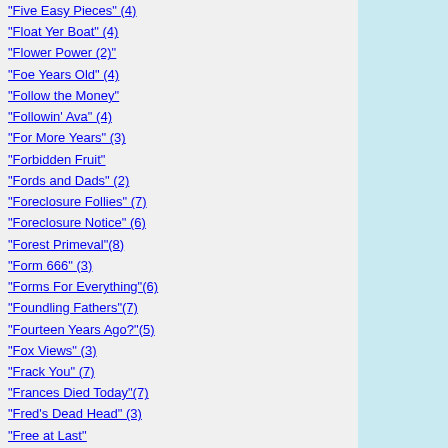"Five Easy Pieces" (4)
"Float Yer Boat" (4)
"Flower Power (2)"
"Foe Years Old" (4)
"Follow the Money"
"Followin' Ava" (4)
"For More Years" (3)
"Forbidden Fruit"
"Fords and Dads" (2)
"Foreclosure Follies" (7)
"Foreclosure Notice" (6)
"Forest Primeval"(8)
"Form 666" (3)
"Forms For Everything"(6)
"Foundling Fathers"(7)
"Fourteen Years Ago?"(5)
"Fox Views" (3)
"Frack You" (7)
"Frances Died Today"(7)
"Fred's Dead Head" (3)
"Free at Last"
"Free Hidden Telecast"(4)
"Freedom? Hell No" (3)
"Friend by Your Side" (3)
«
"Friend by your Side" (4)
"Friendly Persuasion" (5)
"Friends of Bill" (7)